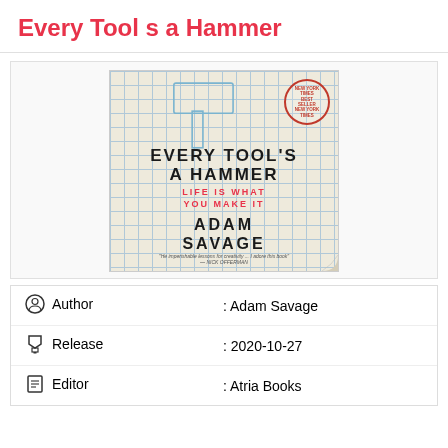Every Tool s a Hammer
[Figure (photo): Book cover of 'Every Tool's A Hammer: Life Is What You Make It' by Adam Savage, published by Atria Books. The cover features a grid/graph paper background with an outline drawing of a hammer, large bold text for the title, red text for the subtitle, and author name. A circular 'New York Times Bestseller' badge is in the top right corner. A page curl is visible in the bottom right corner.]
| Author | : Adam Savage |
| Release | : 2020-10-27 |
| Editor | : Atria Books |